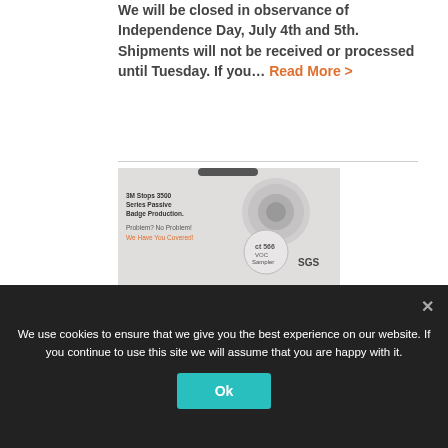We will be closed in observance of Independence Day, July 4th and 5th. Shipments will not be received or processed until Tuesday. If you... Read More >
[Figure (photo): Photo of a 3M Stops 3500 Series Passive Badge and an SGS VOC Sampler badge, with text overlaid: '3M Stops 3500 Series Passive Badge Production. Problem? No Problem! We Have You Covered!' and an SGS logo.]
28TH MAY 2021
We use cookies to ensure that we give you the best experience on our website. If you continue to use this site we will assume that you are happy with it.